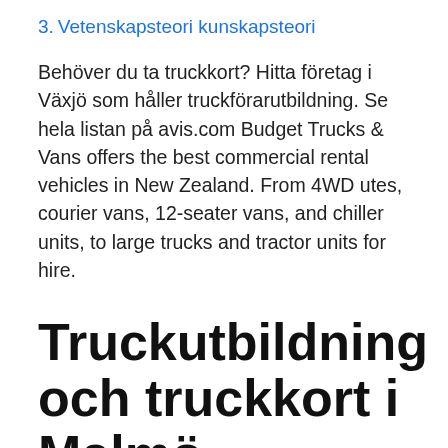3. Vetenskapsteori kunskapsteori
Behöver du ta truckkort? Hitta företag i Växjö som håller truckförarutbildning. Se hela listan på avis.com Budget Trucks & Vans offers the best commercial rental vehicles in New Zealand. From 4WD utes, courier vans, 12-seater vans, and chiller units, to large trucks and tractor units for hire.
Truckutbildning och truckkort i Malmö, Stockholm - Truckverket
Hur mycket får Truckförare kör? Är det intressant att jobba